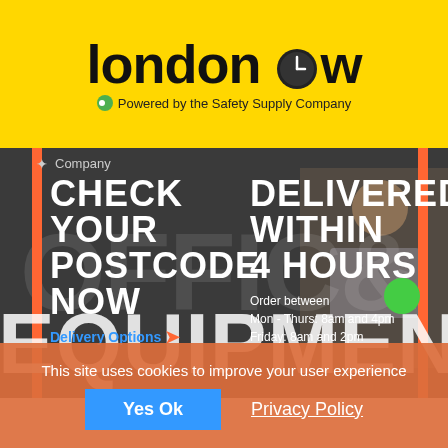[Figure (logo): LondonOw logo with clock icon and 'Powered by the Safety Supply Company' tagline on yellow background]
[Figure (screenshot): Website screenshot showing 'CHECK YOUR POSTCODE NOW' on left and 'DELIVERED WITHIN 4 HOURS' on right with office background image, orange vertical bars, large OFFICE & EQUIPMENT text overlay, and Delivery Options link]
This site uses cookies to improve your user experience
Yes Ok
Privacy Policy